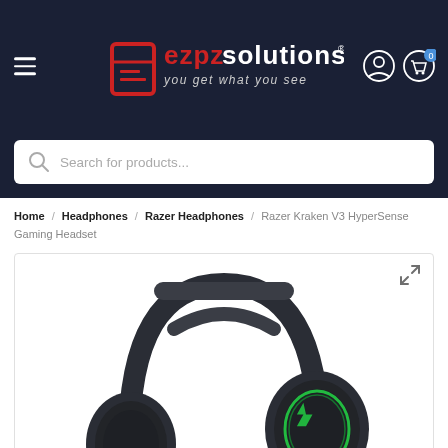[Figure (logo): EZPZ Solutions logo with tagline 'you get what you see' on dark navy background]
[Figure (screenshot): Search bar with magnifying glass icon and placeholder text 'Search for products...']
Home / Headphones / Razer Headphones / Razer Kraken V3 HyperSense Gaming Headset
[Figure (photo): Razer Kraken V3 HyperSense Gaming Headset product photo on white background, showing black gaming headset with green Razer logo on earcup]